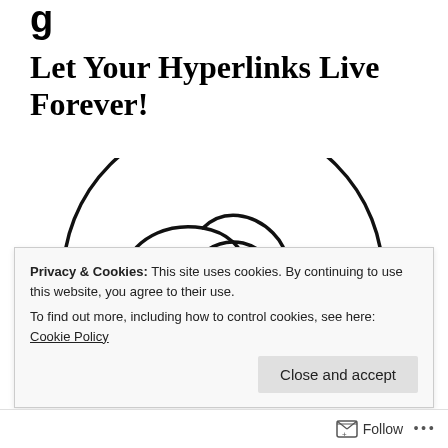Let Your Hyperlinks Live Forever!
[Figure (illustration): Cartoon illustration of a dog (Snoopy-like character) inside a large circle, shown from behind with floppy ears visible, drawn in a simple black line art style on white background.]
Privacy & Cookies: This site uses cookies. By continuing to use this website, you agree to their use.
To find out more, including how to control cookies, see here: Cookie Policy
Follow ...